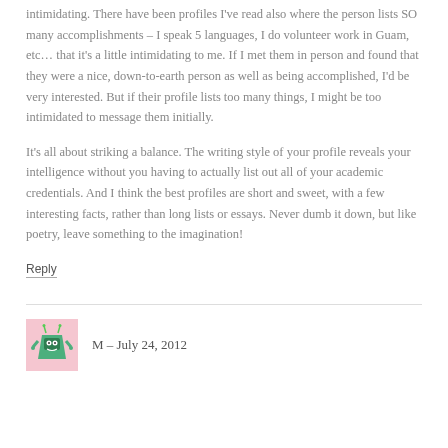intimidating. There have been profiles I've read also where the person lists SO many accomplishments – I speak 5 languages, I do volunteer work in Guam, etc… that it's a little intimidating to me. If I met them in person and found that they were a nice, down-to-earth person as well as being accomplished, I'd be very interested. But if their profile lists too many things, I might be too intimidated to message them initially.
It's all about striking a balance. The writing style of your profile reveals your intelligence without you having to actually list out all of your academic credentials. And I think the best profiles are short and sweet, with a few interesting facts, rather than long lists or essays. Never dumb it down, but like poetry, leave something to the imagination!
Reply
M – July 24, 2012